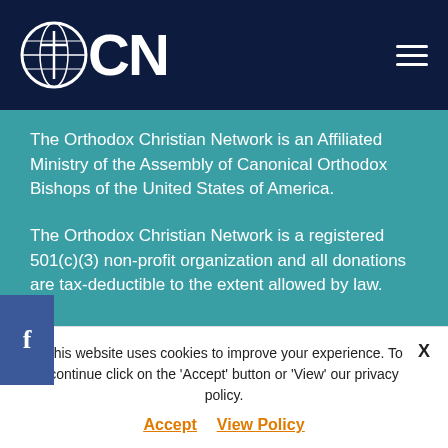OCN
The Orthodox Christian Network is an Affiliated Ministry of the Assembly of Canonical Orthodox Bishops of the United States of America.
The Orthodox Christian Network is a registered 501(c)(3) non-profit organization and all donations are tax-deductible to the extent allowed by law.
About Us
Purpose, People, Calendar, Advertise
This website uses cookies to improve your experience. To continue click on the 'Accept' button or 'View' our privacy policy. Accept  View Policy